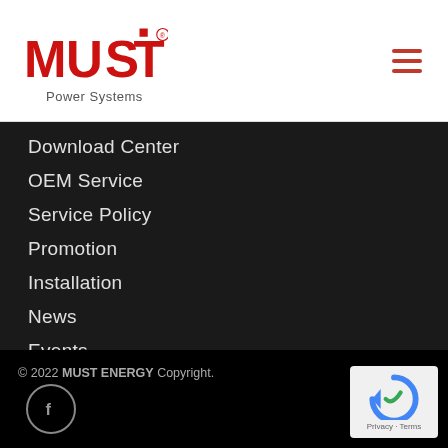[Figure (logo): MUST Power Systems logo — red MUST text with registered trademark symbol, subtitle 'Power Systems']
Download Center
OEM Service
Service Policy
Promotion
Installation
News
Events
Contact
© 2022 MUST ENERGY Copyright.